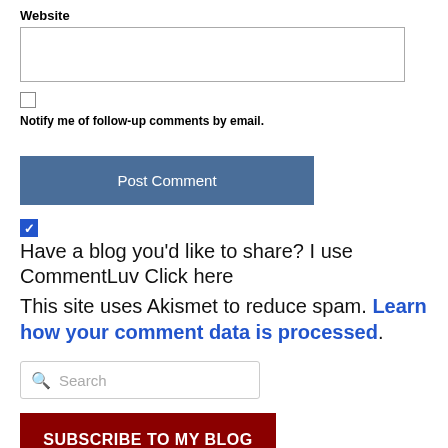Website
Notify me of follow-up comments by email.
Post Comment
Have a blog you'd like to share? I use CommentLuv Click here
This site uses Akismet to reduce spam. Learn how your comment data is processed.
Search
SUBSCRIBE TO MY BLOG